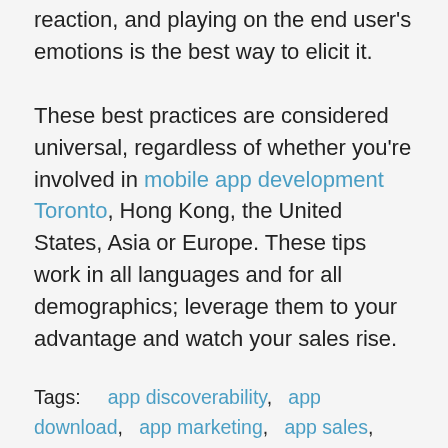reaction, and playing on the end user's emotions is the best way to elicit it.
These best practices are considered universal, regardless of whether you're involved in mobile app development Toronto, Hong Kong, the United States, Asia or Europe. These tips work in all languages and for all demographics; leverage them to your advantage and watch your sales rise.
Tags: app discoverability, app download, app marketing, app sales, app store description, app stores, cost per install, cpi, discoverability, google apps, google play, google play app store, itunes app store, mobile app marketing, mobile app search, mobile marketing